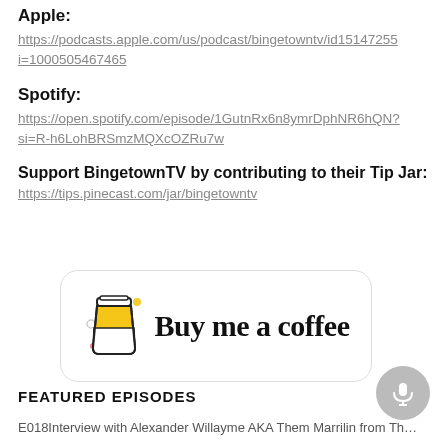Apple:
https://podcasts.apple.com/us/podcast/bingetowntv/id15147255i=1000505467465
Spotify:
https://open.spotify.com/episode/1GutnRx6n8ymrDphNR6hQN?si=R-h6LohBRSmzMQXcOZRu7w
Support BingetownTV by contributing to their Tip Jar:
https://tips.pinecast.com/jar/bingetowntv
[Figure (illustration): Buy Me a Coffee button with a yellow coffee cup illustration and text 'Buy me a coffee' in script font, inside a rounded rectangle border.]
FEATURED EPISODES
E018Interview with Alexander Willayme AKA Them Marrilin from The Wheel of